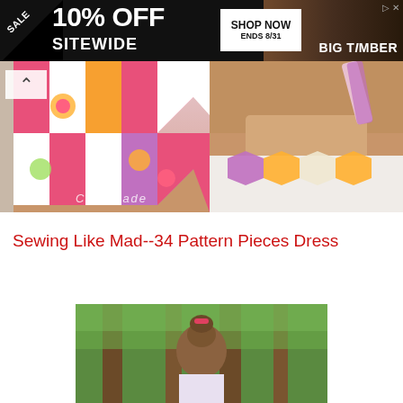[Figure (photo): Advertisement banner: SALE 10% OFF SITEWIDE, SHOP NOW ENDS 8/31, BIG TIMBER]
[Figure (photo): Two-panel gallery: left panel shows a young girl in a colorful pink/orange chevron patterned dress with floral appliques sitting on steps, watermark CailaMade; right panel shows close-up of back/shoulder strap detail of same dress]
Sewing Like Mad--34 Pattern Pieces Dress
[Figure (photo): Partial photo of a young girl with hair in a bun wearing a hair bow, photographed from behind in a forest setting]